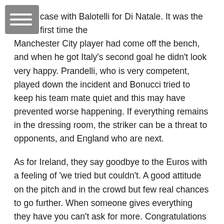case with Balotelli for Di Natale. It was the first time the Manchester City player had come off the bench, and when he got Italy's second goal he didn't look very happy. Prandelli, who is very competent, played down the incident and Bonucci tried to keep his team mate quiet and this may have prevented worse happening. If everything remains in the dressing room, the striker can be a threat to opponents, and England who are next.
As for Ireland, they say goodbye to the Euros with a feeling of 'we tried but couldn't. A good attitude on the pitch and in the crowd but few real chances to go further. When someone gives everything they have you can't ask for more. Congratulations for getting there and good luck for the next competition.
England top the group
So we finish with Group D. It finished with England on top, second place going to France and goodbye to Sweden and the